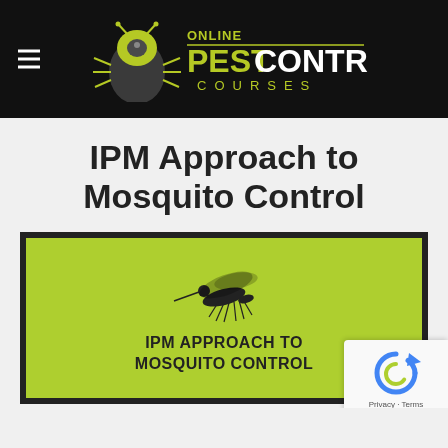Online Pest Control Courses
IPM Approach to Mosquito Control
[Figure (illustration): Green rectangular course thumbnail with a mosquito silhouette illustration above the text 'IPM APPROACH TO MOSQUITO CONTROL' on a yellow-green background, with a dark border frame]
[Figure (logo): Google reCAPTCHA badge with circular arrow icon and 'Privacy - Terms' text]